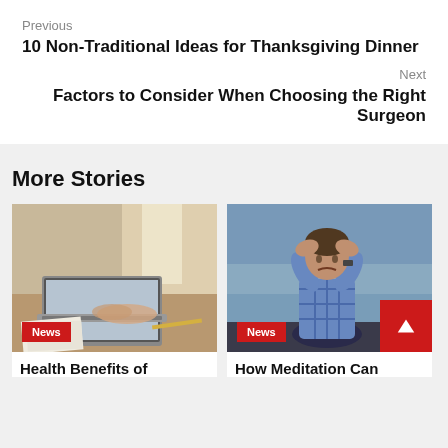Previous
10 Non-Traditional Ideas for Thanksgiving Dinner
Next
Factors to Consider When Choosing the Right Surgeon
More Stories
[Figure (photo): Hands typing on a laptop computer on a desk with papers]
News
Health Benefits of
[Figure (photo): Man sitting outdoors with hands on head, looking stressed]
News
How Meditation Can